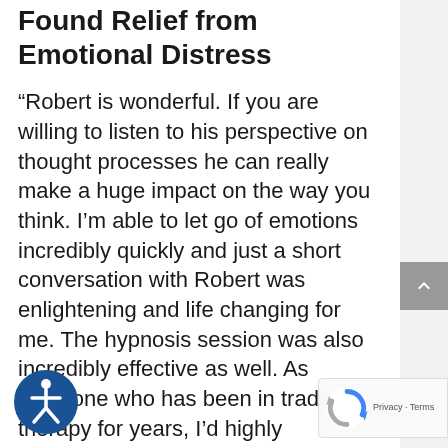Found Relief from Emotional Distress
“Robert is wonderful. If you are willing to listen to his perspective on thought processes he can really make a huge impact on the way you think. I’m able to let go of emotions incredibly quickly and just a short conversation with Robert was enlightening and life changing for me. The hypnosis session was also incredibly effective as well. As someone who has been in traditional therapy for years, I’d highly recommend Robert’s services above CBT to anyone and everyone. If you are
[Figure (logo): Accessibility icon — circular blue badge with white human figure (wheelchair accessibility symbol)]
[Figure (logo): Google reCAPTCHA badge with spinning arrows logo and Privacy - Terms text]